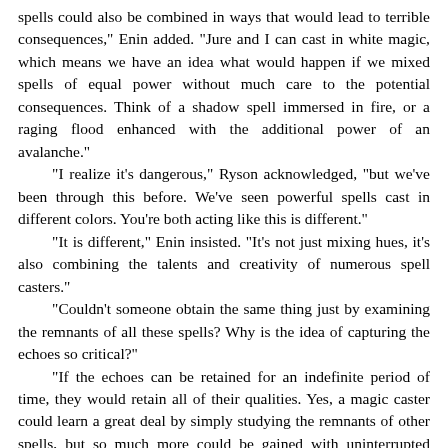spells could also be combined in ways that would lead to terrible consequences," Enin added. "Jure and I can cast in white magic, which means we have an idea what would happen if we mixed spells of equal power without much care to the potential consequences. Think of a shadow spell immersed in fire, or a raging flood enhanced with the additional power of an avalanche."
"I realize it's dangerous," Ryson acknowledged, "but we've been through this before. We've seen powerful spells cast in different colors. You're both acting like this is different."
"It is different," Enin insisted. "It's not just mixing hues, it's also combining the talents and creativity of numerous spell casters."
"Couldn't someone obtain the same thing just by examining the remnants of all these spells? Why is the idea of capturing the echoes so critical?"
"If the echoes can be retained for an indefinite period of time, they would retain all of their qualities. Yes, a magic caster could learn a great deal by simply studying the remnants of other spells, but so much more could be gained with uninterrupted access. A spell caster could experiment with spell remnants without them ever losing their original influence. There wouldn't be a need for memorization. Limits based on an individual's mental capacity would be removed."
"Think of having a library of spells," Jure added, "but not just an ordinary library. This would be one that would allow for immediate access. You could call on a spell and it would be